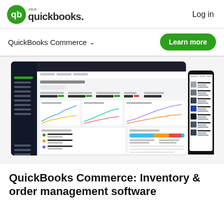intuit quickbooks. Log in
QuickBooks Commerce
[Figure (screenshot): Screenshot of QuickBooks Commerce dashboard on desktop and mobile, showing inventory and order management interface with line charts and product listings.]
QuickBooks Commerce: Inventory & order management software